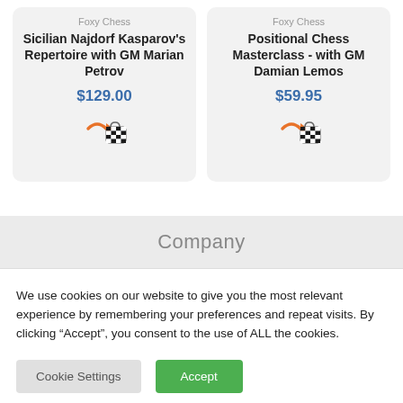Foxy Chess
Sicilian Najdorf Kasparov's Repertoire with GM Marian Petrov
$129.00
Foxy Chess
Positional Chess Masterclass - with GM Damian Lemos
$59.95
Company
We use cookies on our website to give you the most relevant experience by remembering your preferences and repeat visits. By clicking “Accept”, you consent to the use of ALL the cookies.
Cookie Settings
Accept